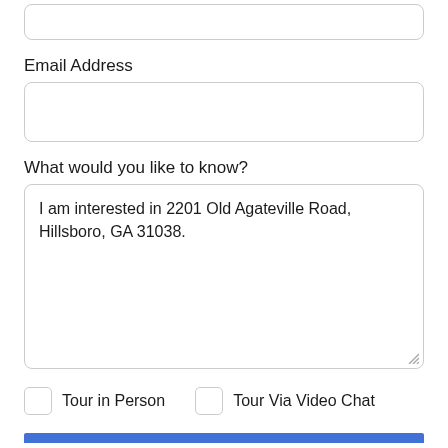[Figure (screenshot): Partially visible input text field at top of page (cropped)]
Email Address
[Figure (screenshot): Empty email address input field]
What would you like to know?
I am interested in 2201 Old Agateville Road, Hillsboro, GA 31038.
Tour in Person
Tour Via Video Chat
Take a Tour
Ask A Question